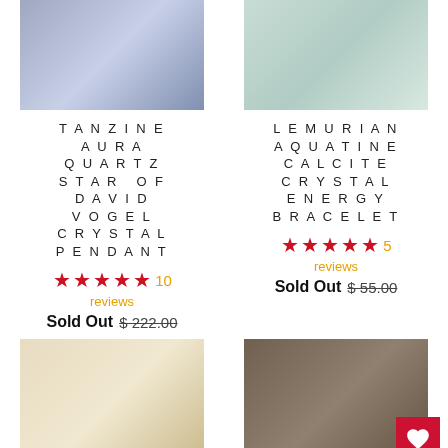[Figure (photo): Tanzine Aura Quartz Star of David Vogel Crystal Pendant product photo]
[Figure (photo): Lemurian Aquatine Calcite Crystal Energy Bracelet product photo]
TANZINE AURA QUARTZ STAR OF DAVID VOGEL CRYSTAL PENDANT
★★★★★ 10 reviews
Sold Out $ 222.00
LEMURIAN AQUATINE CALCITE CRYSTAL ENERGY BRACELET
★★★★★ 5 reviews
Sold Out $ 55.00
[Figure (photo): Crystal bracelet on white cloth product photo]
[Figure (photo): Colorful crystal chips arranged in heart shape product photo]